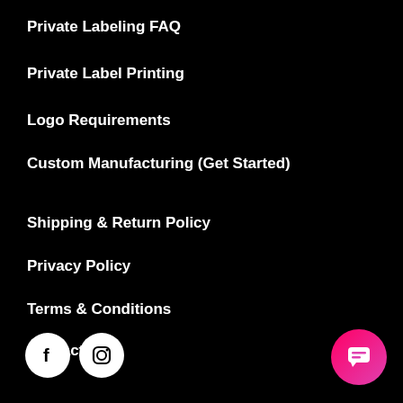Private Labeling FAQ
Private Label Printing
Logo Requirements
Custom Manufacturing (Get Started)
Shipping & Return Policy
Privacy Policy
Terms & Conditions
Contact Us
[Figure (illustration): Facebook and Instagram social media icons (white circles), and a pink gradient chat button in the bottom right corner]